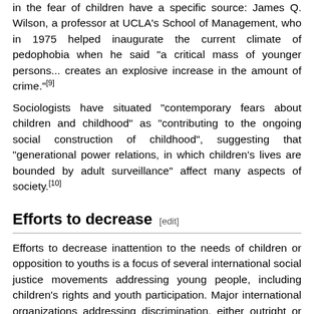in the fear of children have a specific source: James Q. Wilson, a professor at UCLA's School of Management, who in 1975 helped inaugurate the current climate of pedophobia when he said "a critical mass of younger persons... creates an explosive increase in the amount of crime."[9]
Sociologists have situated "contemporary fears about children and childhood" as "contributing to the ongoing social construction of childhood", suggesting that "generational power relations, in which children's lives are bounded by adult surveillance" affect many aspects of society.[10]
Efforts to decrease [edit]
Efforts to decrease inattention to the needs of children or opposition to youths is a focus of several international social justice movements addressing young people, including children's rights and youth participation. Major international organizations addressing discrimination, either outright or by implication, include Save the Children and Children's Defense Fund. However, some organizations, particularly those associated with the youth rights